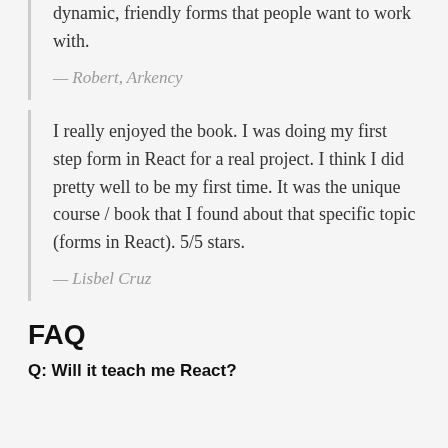dynamic, friendly forms that people want to work with.
— Robert, Arkency
I really enjoyed the book. I was doing my first step form in React for a real project. I think I did pretty well to be my first time. It was the unique course / book that I found about that specific topic (forms in React). 5/5 stars.
— Lisbel Cruz
FAQ
Q: Will it teach me React?